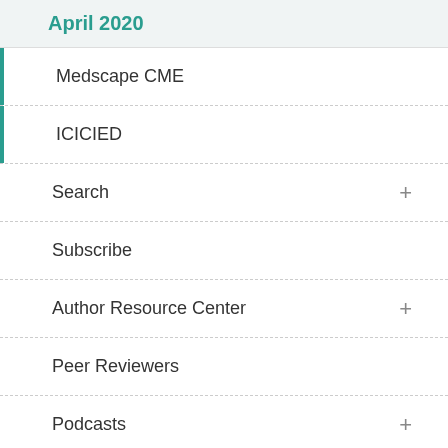April 2020
Medscape CME
ICICIED
Search
Subscribe
Author Resource Center
Peer Reviewers
Podcasts
Social Media